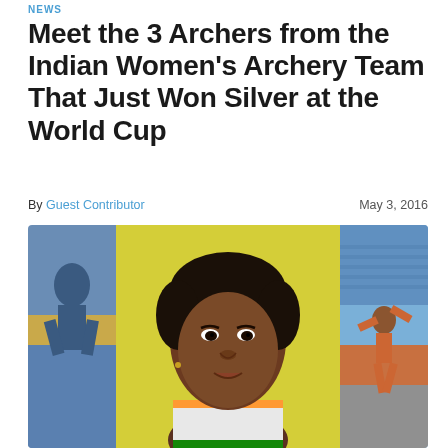NEWS
Meet the 3 Archers from the Indian Women's Archery Team That Just Won Silver at the World Cup
By Guest Contributor    May 3, 2016
[Figure (photo): Composite of three photos: left strip shows an athlete, center shows a close-up portrait of an Indian woman archer in team uniform against a yellow background, right strip shows an archer in action at a stadium.]